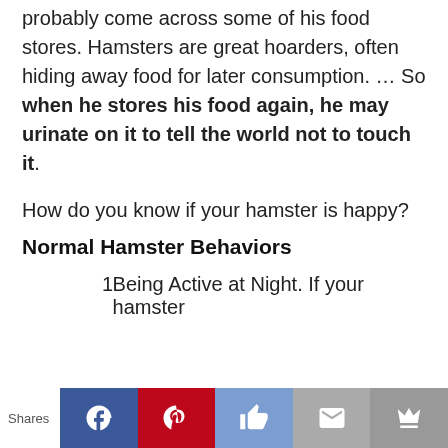probably come across some of his food stores. Hamsters are great hoarders, often hiding away food for later consumption. … So when he stores his food again, he may urinate on it to tell the world not to touch it.
How do you know if your hamster is happy?
Normal Hamster Behaviors
1  Being Active at Night. If your hamster
Shares [Facebook] [Pinterest] [Like] [Mail] [Crown]